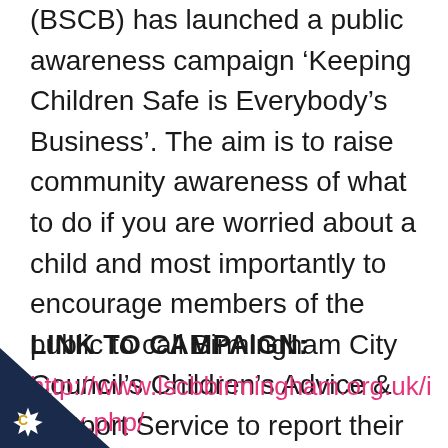(BSCB) has launched a public awareness campaign ‘Keeping Children Safe is Everybody’s Business’. The aim is to raise community awareness of what to do if you are worried about a child and most importantly to encourage members of the public to call Birmingham City Council’s Children’s Advice & Support Service to report their concerns, so action can be taken to safeguard and protect the child.
LINK TO CAMPAIGN:
http://www.lscbbirmingham.org.uk/index.php/mpaigns/keepingchildren-safe-is-ody-s-business
[Figure (logo): Dark navy triangle in bottom-left corner with a white star/cog icon and letter C]